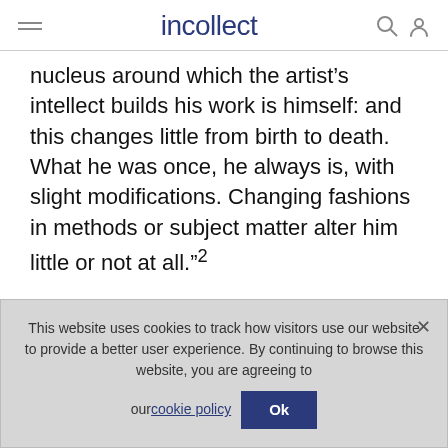incollect
nucleus around which the artist's intellect builds his work is himself: and this changes little from birth to death. What he was once, he always is, with slight modifications. Changing fashions in methods or subject matter alter him little or not at all.”²
Located on the western side of the Hudson River, late nineteenth-century Nyack was a bustling river and commercial town, with small
This website uses cookies to track how visitors use our website to provide a better user experience. By continuing to browse this website, you are agreeing to our cookie policy  Ok